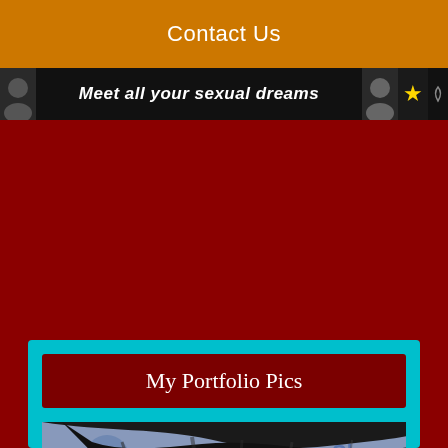Contact Us
[Figure (photo): Dark banner with the text 'Meet all your sexual dreams' and small thumbnail images on the sides, a star icon visible]
My Portfolio Pics
[Figure (photo): A photo showing dark hair from behind with a large red heart shape covering the face area, with a blue/grey background showing partial text 'Show']